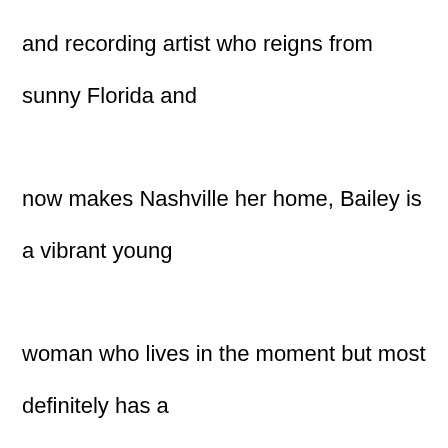and recording artist who reigns from sunny Florida and now makes Nashville her home, Bailey is a vibrant young woman who lives in the moment but most definitely has a plan for the future. In short, Bailey Callahan thrives in a whirlwind!
While Bailey is most certainly characterized by her fun-loving, carefree personality, what lies beneath her effervescence is a tenacity and determination that makes her a force to be reckoned with. She navigates her business within the music industry with moxie and grace. In the last two years, she has played more than 300 dates sharing stages with some of country music's hottest names including Luke Combs, Hunter Hayes,